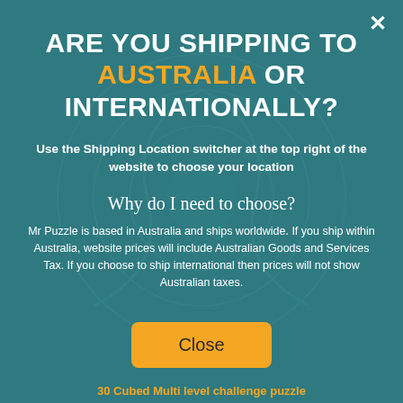ARE YOU SHIPPING TO AUSTRALIA OR INTERNATIONALLY?
Use the Shipping Location switcher at the top right of the website to choose your location
Why do I need to choose?
Mr Puzzle is based in Australia and ships worldwide. If you ship within Australia, website prices will include Australian Goods and Services Tax. If you choose to ship international then prices will not show Australian taxes.
Close
30 Cubed Multi level challenge puzzle